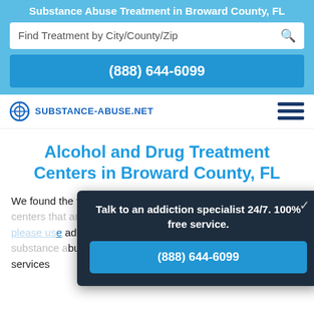Substance Abuse Treatment in Broward County, FL
Find Treatment by City/County/Zip
(888) 644-6099
[Figure (logo): Substance-Abuse.net logo with circular icon and hamburger menu]
Alcohol and Drug Treatment Centers in Broward County, FL
We found the following listings for substance abuse treatment centers that are located immediately under the listings section, please use our substance abuse addiction treatment center locator. To pinpoint select substance abuse treatment centers may include multiple services
Talk to an addiction specialist 24/7. 100% free service. (888) 644-6099